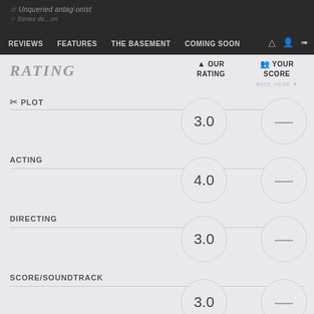REVIEWS | FEATURES | THE BASEMENT | COMING SOON
RATING
OUR RATING | YOUR SCORE | RATE HERE
PLOT — Our Rating: 3.0, Your Score: —
ACTING — Our Rating: 4.0, Your Score: —
DIRECTING — Our Rating: 3.0, Your Score: —
SCORE/SOUNDTRACK — Our Rating: 3.0, Your Score: —
CINEMATOGRAPHY — Our Rating: 5.0, Your Score: —